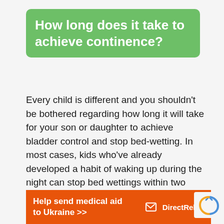How long does it take to achieve continence?
Every child is different and you shouldn’t be bothered regarding how long it will take for your son or daughter to achieve bladder control and stop bed-wetting. In most cases, kids who’ve already developed a habit of waking up during the night can stop bed wettings within two weeks.
[Figure (infographic): Orange advertisement banner reading 'Help send medical aid to Ukraine >>' with DirectRelief logo on the right]